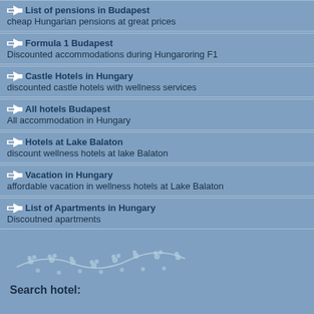List of pensions in Budapest
cheap Hungarian pensions at great prices
Formula 1 Budapest
Discounted accommodations during Hungaroring F1
Castle Hotels in Hungary
discounted castle hotels with wellness services
All hotels Budapest
All accommodation in Hungary
Hotels at Lake Balaton
discount wellness hotels at lake Balaton
Vacation in Hungary
affordable vacation in wellness hotels at Lake Balaton
List of Apartments in Hungary
Discoutned apartments
[Figure (illustration): Decorative floral/branch ornament in light blue]
Search hotel: